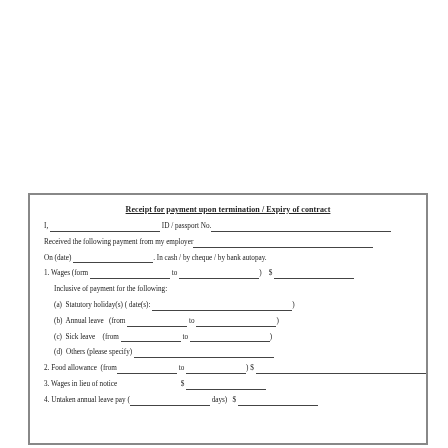Receipt for payment upon termination / Expiry of contract
I, _______________, ID / passport No._______________
Received the following payment from my employer_______________
On (date) _______________. In cash / by cheque / by bank autopay.
1. Wages (form _______________ to _______________) $ _______________
Inclusive of payment for the following:
(a) Statutory holiday(s) ( date(s): _______________)
(b) Annual leave (from _______________ to _______________)
(c) Sick leave (from _______________ to _______________)
(d) Others (please specify) _______________
2. Food allowance (from _______________ to _______________) $ _______________
3. Wages in lieu of notice $ _______________
4. Untaken annual leave pay (_______________ days) $ _______________